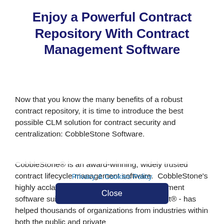Enjoy a Powerful Contract Repository With Contract Management Software
Now that you know the many benefits of a robust contract repository, it is time to introduce the best possible CLM solution for contract security and centralization: CobbleStone Software.
CobbleStone® is an award-winning, widely trusted contract lifecycle management software.  CobbleStone's highly acclaimed source-to-contract management software suite - CobbleStone Contract Insight® - has helped thousands of organizations from industries within both the public and private
Privacy & Cookies Policy
Close